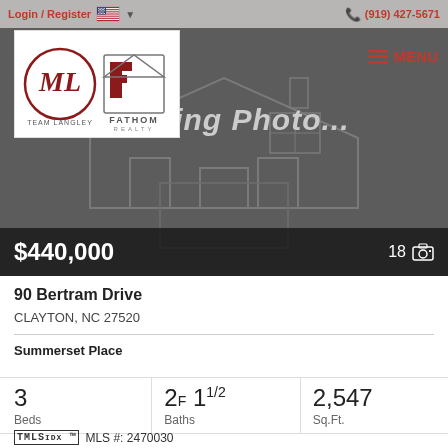Login / Register  (919) 427-5671
[Figure (logo): Team Langley / Fathom Realty logo]
MENU
[Figure (photo): Loading Photo... - house placeholder image with price $440,000 and photo count 18]
90 Bertram Drive
CLAYTON, NC 27520
Summerset Place
| Beds | Baths | Sq.Ft. |
| --- | --- | --- |
| 3 | 2F 11/2 | 2,547 |
TMLS IDX ™  MLS #: 2470030